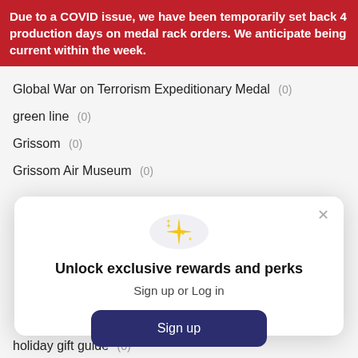Due to a COVID issue, we have been temporarily set back 4 production days on medal rack orders. We anticipate being current within the week.
Global War on Terrorism Expeditionary Medal (0)
green line (0)
Grissom (0)
Grissom Air Museum (0)
[Figure (screenshot): Modal popup with sparkle emoji icon, title 'Unlock exclusive rewards and perks', subtitle 'Sign up or Log in', a dark blue 'Sign up' button, and footer 'Already have an account? Sign in'. Close X button in top right.]
holiday gift guide (0)